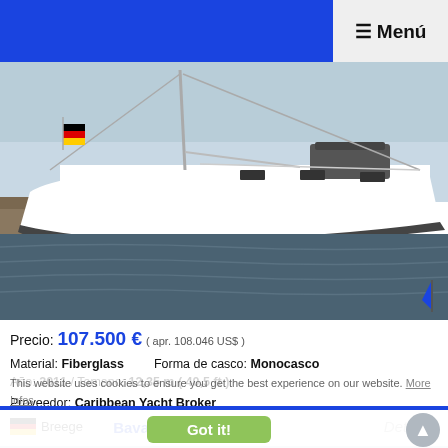☰ Menú
[Figure (photo): White sailing yacht (Bavaria Cruiser 36) moored at a dock on calm water, with German flag visible, side view showing full hull]
Precio: 107.500 € ( apr. 108.046 US$ )
Material: Fiberglass    Forma de casco: Monocasco
Año: 2011 / Tamano: 12,35 m ( 40,5 ft )
Proveedor: Caribbean Yacht Broker
🇩🇪 Breege    61_b_59420    Detalles
This website uses cookies to ensure you get the best experience on our website.  More Infos
Got it!
Bavaria Cruiser 36